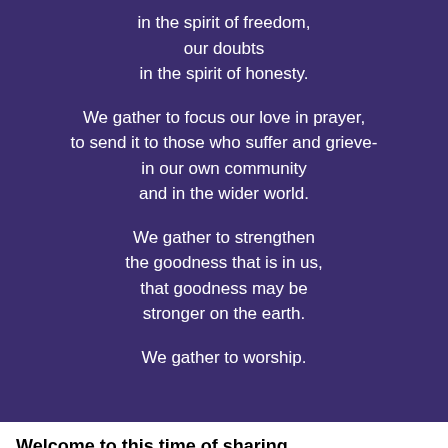in the spirit of freedom,
our doubts
in the spirit of honesty.

We gather to focus our love in prayer,
to send it to those who suffer and grieve-
in our own community
and in the wider world.

We gather to strengthen
the goodness that is in us,
that goodness may be
stronger on the earth.

We gather to worship.
Welcome to this time of sharing.
Whatever time it is, and wherever you are this is a time for us to come together with the sense of community, to turn